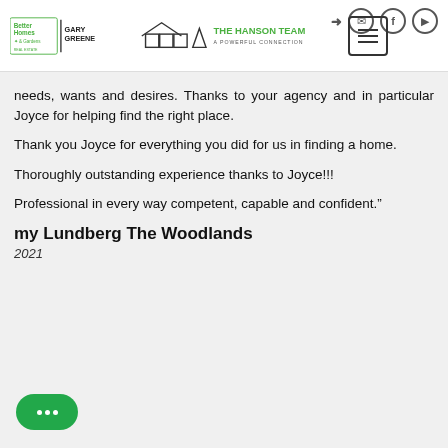Better Homes Gary Greene | The Hanson Team A Powerful Connection
needs, wants and desires. Thanks to your agency and in particular Joyce for helping find the right place.
Thank you Joyce for everything you did for us in finding a home.
Thoroughly outstanding experience thanks to Joyce!!!
Professional in every way competent, capable and confident.”
my Lundberg The Woodlands
2021